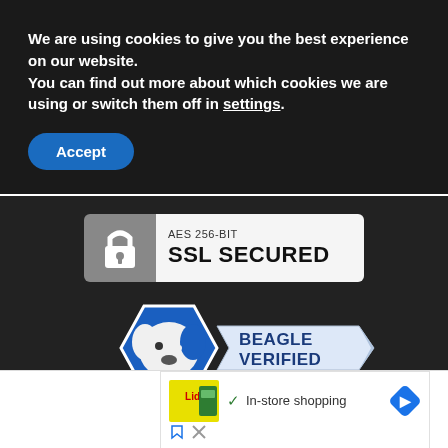We are using cookies to give you the best experience on our website.
You can find out more about which cookies we are using or switch them off in settings.
Accept
[Figure (infographic): AES 256-BIT SSL SECURED badge with padlock icon on grey background and white text area]
[Figure (logo): Beagle Verified badge showing blue hexagonal shield with beagle dog face silhouette and white ribbon banner with BEAGLE VERIFIED text]
[Figure (screenshot): Advertisement showing Lidl store with In-store shopping text and a blue navigation arrow icon, with ad controls below]